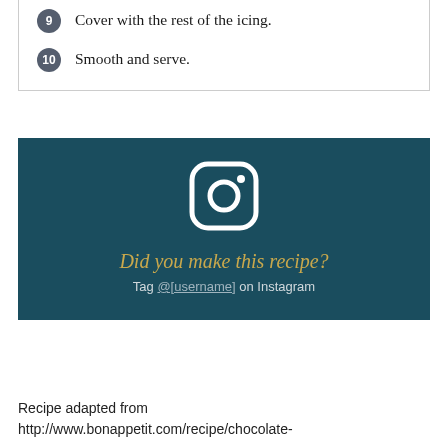9 Cover with the rest of the icing.
10 Smooth and serve.
[Figure (logo): Instagram logo icon in white on dark teal background]
Did you make this recipe?
Tag @[handle] on Instagram
Recipe adapted from http://www.bonappetit.com/recipe/chocolate-